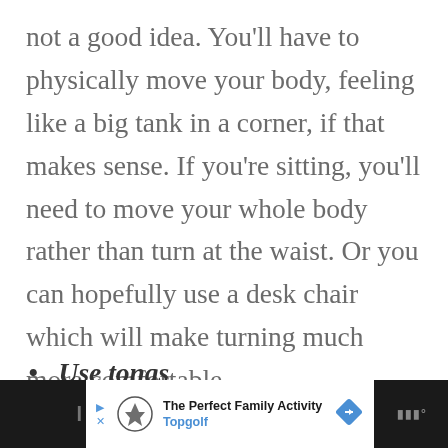not a good idea. You'll have to physically move your body, feeling like a big tank in a corner, if that makes sense. If you're sitting, you'll need to move your whole body rather than turn at the waist. Or you can hopefully use a desk chair which will make turning much more comfortable.
Use tongs
[Figure (other): Advertisement bar at bottom: black background with white inset ad. Shows Topgolf logo, text 'The Perfect Family Activity' and 'Topgolf' in blue, with a blue navigation arrow icon. Partial text visible on right edge.]